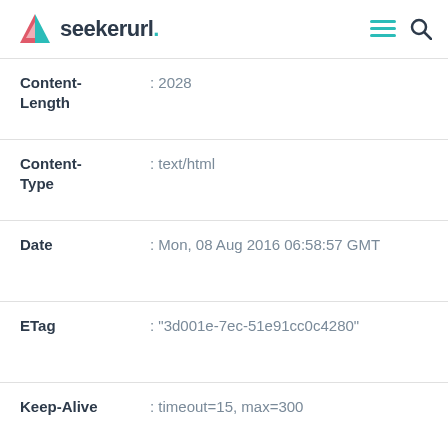seekerurl.
| Field | Value |
| --- | --- |
| Content-Length | : 2028 |
| Content-Type | : text/html |
| Date | : Mon, 08 Aug 2016 06:58:57 GMT |
| ETag | : "3d001e-7ec-51e91cc0c4280" |
| Keep-Alive | : timeout=15, max=300 |
| Last-Modified | : Mon, 31 Aug 2015 02:00:26 GMT |
| Server | : Apache |